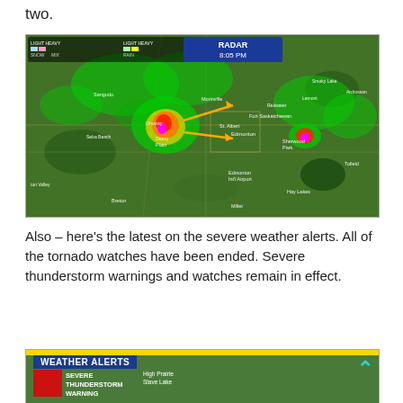two.
[Figure (map): Weather radar map showing RADAR 8:05 PM over Edmonton area, Alberta. Legend shows LIGHT-HEAVY SNOW, MIX, RAIN. Orange arrows pointing east toward Morinville and Stony Plain areas. Intense storm cell visible in red/magenta/yellow colors near Stony Plain/Onoway. Green precipitation widespread. Cities labeled: Sangudo, Seba Beach, Morinville, Fort Saskatchewan, Redwater, Lamont, Ardrossan, St. Albert, Edmonton, Sherwood Park, Stony Plain, Edmonton Int'l Airport, Hay Lakes, Millet, Breton, Tofield, Hay Valley.]
Also – here’s the latest on the severe weather alerts. All of the tornado watches have been ended. Severe thunderstorm warnings and watches remain in effect.
[Figure (screenshot): Weather Alerts screen showing SEVERE THUNDERSTORM WARNING with red box, map of Alberta with High Prairie, Slave Lake visible. Yellow bar at top. Teal chevron in upper right.]